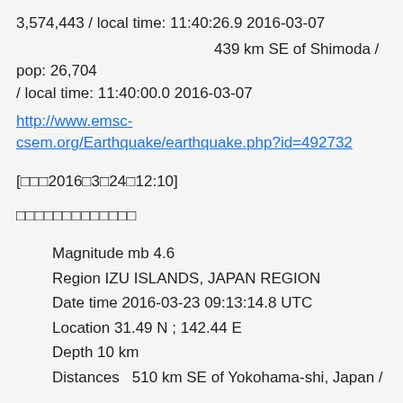3,574,443 / local time: 11:40:26.9 2016-03-07
439 km SE of Shimoda / pop: 26,704 / local time: 11:40:00.0 2016-03-07
http://www.emsc-csem.org/Earthquake/earthquake.php?id=492732
[□□□2016□3□24□12:10]
□□□□□□□□□□□□□
Magnitude mb 4.6
Region IZU ISLANDS, JAPAN REGION
Date time 2016-03-23 09:13:14.8 UTC
Location 31.49 N ; 142.44 E
Depth 10 km
Distances   510 km SE of Yokohama-shi, Japan /